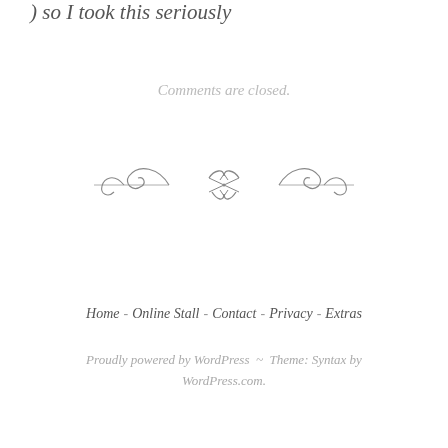) so I took this seriously
Comments are closed.
[Figure (illustration): Decorative ornamental divider with scrollwork and flourishes]
Home - Online Stall - Contact - Privacy - Extras
Proudly powered by WordPress ~ Theme: Syntax by WordPress.com.